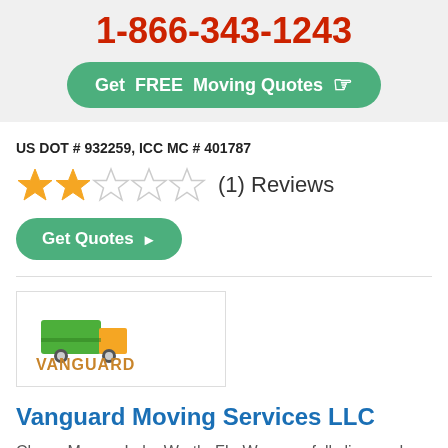1-866-343-1243
Get FREE Moving Quotes
US DOT # 932259, ICC MC # 401787
[Figure (infographic): 2 out of 5 stars rating with (1) Reviews text]
Get Quotes
[Figure (logo): Vanguard Moving Services LLC logo with truck icon in green and orange/yellow]
Vanguard Moving Services LLC
Cheap Movers Lake Worth, FL. We are a fully licensed and insured full-service company and our mission is simple: to